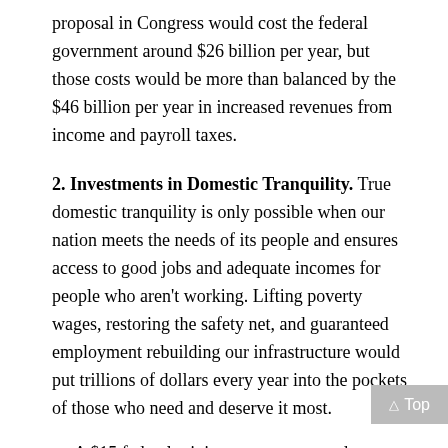proposal in Congress would cost the federal government around $26 billion per year, but those costs would be more than balanced by the $46 billion per year in increased revenues from income and payroll taxes.
2. Investments in Domestic Tranquility. True domestic tranquility is only possible when our nation meets the needs of its people and ensures access to good jobs and adequate incomes for people who aren't working. Lifting poverty wages, restoring the safety net, and guaranteed employment rebuilding our infrastructure would put trillions of dollars every year into the pockets of those who need and deserve it most.
A $15 federal minimum wage enacted immediately would raise pay for 49 million workers by a combined